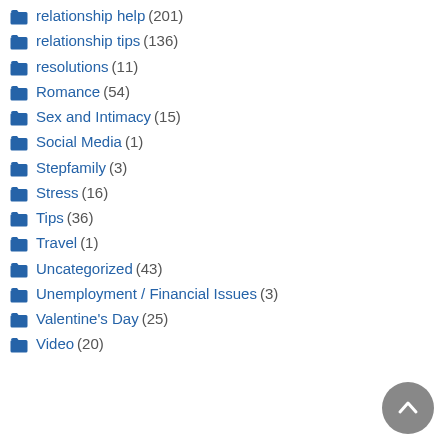relationship help (201)
relationship tips (136)
resolutions (11)
Romance (54)
Sex and Intimacy (15)
Social Media (1)
Stepfamily (3)
Stress (16)
Tips (36)
Travel (1)
Uncategorized (43)
Unemployment / Financial Issues (3)
Valentine's Day (25)
Video (20)